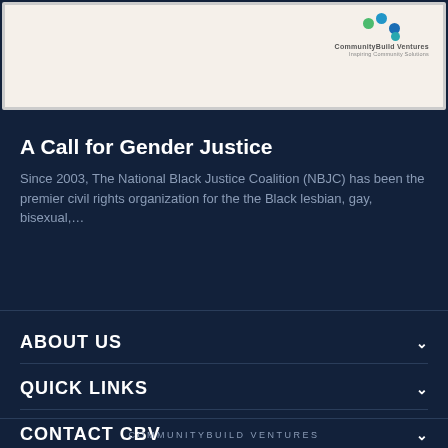[Figure (logo): CommunityBuild Ventures logo with colored dots (green, blue, teal) and company name text]
A Call for Gender Justice
Since 2003, The National Black Justice Coalition (NBJC) has been the premier civil rights organization for the the Black lesbian, gay, bisexual,...
ABOUT US
QUICK LINKS
CONTACT CBV
COMMUNITYBUILD VENTURES